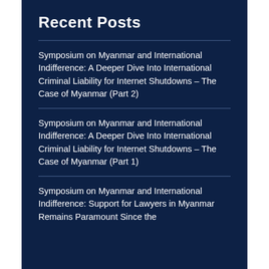Recent Posts
Symposium on Myanmar and International Indifference: A Deeper Dive Into International Criminal Liability for Internet Shutdowns – The Case of Myanmar (Part 2)
Symposium on Myanmar and International Indifference: A Deeper Dive Into International Criminal Liability for Internet Shutdowns – The Case of Myanmar (Part 1)
Symposium on Myanmar and International Indifference: Support for Lawyers in Myanmar Remains Paramount Since the